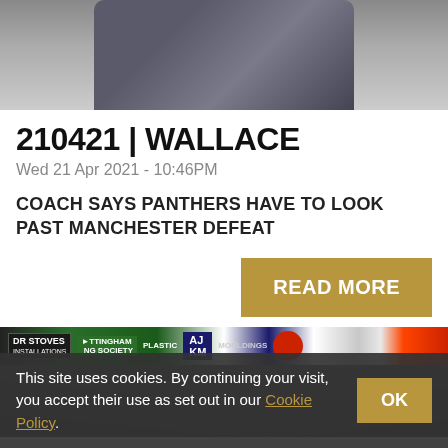[Figure (photo): Cropped photo of a person in a dark blazer, arms crossed, shot from chest up, top portion visible]
210421 | WALLACE
Wed 21 Apr 2021 - 10:46PM
COACH SAYS PANTHERS HAVE TO LOOK PAST MANCHESTER DEFEAT
READ MORE
[Figure (photo): Ice hockey players on the rink, wearing Nottingham Panthers uniforms, with rink-side advertising boards including DR Stoves, Nottingham Building Society, AJKM Plastic Mouldings, and Panthers logo]
This site uses cookies. By continuing your visit, you accept their use as set out in our Cookie Policy.